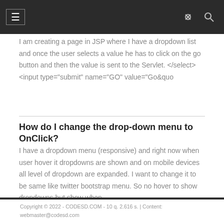≡ [navigation icons]
I am creating a page in JSP where I have a dropdown list and once the user selects a value he has to click on the go button and then the value is sent to the Servlet. </select> <input type="submit" name="GO" value="Go&quo
How do I change the drop-down menu to OnClick?
I have a dropdown menu (responsive) and right now when user hover it dropdowns are shown and on mobile devices all level of dropdown are expanded. I want to change it to be same like twitter bootstrap menu. So no hover to show dropdowns but show when
[Figure (other): HashFlare advertisement banner with broken image placeholder]
Copyright © 2022 - CODESD.COM - 10 q. 2.616 s. | Content: webmaster@codesd.com